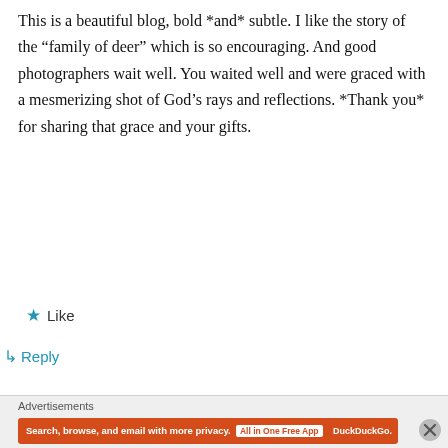This is a beautiful blog, bold *and* subtle. I like the story of the “family of deer” which is so encouraging. And good photographers wait well. You waited well and were graced with a mesmerizing shot of God’s rays and reflections. *Thank you* for sharing that grace and your gifts.
★ Like
↳ Reply
Advertisements
[Figure (screenshot): DuckDuckGo advertisement banner with orange background, showing 'Search, browse, and email with more privacy. All in One Free App' text and DuckDuckGo logo with phone image.]